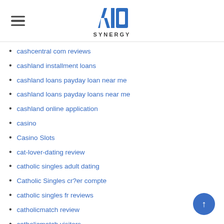AIO SYNERGY
cashcentral com reviews
cashland installment loans
cashland loans payday loan near me
cashland loans payday loans near me
cashland online application
casino
Casino Slots
cat-lover-dating review
catholic singles adult dating
Catholic Singles cr?er compte
catholic singles fr reviews
catholicmatch review
catholicmatch visitors
catholicsingles com vs catholicmatch online
cedar-rapids escort index
cedar-rapids reviews
chappy fr review
chappy review
charleston escort index